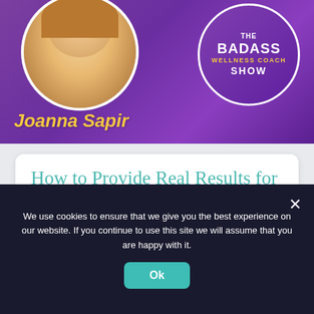[Figure (photo): Podcast show banner with purple background. Left side shows a circular portrait photo of a woman (Joanna Sapir) with curly hair. The name 'Joanna Sapir' is written in yellow italic bold text. Right side shows a circular logo with white text reading 'THE BADASS WELLNESS COACH SHOW'.]
How to Provide Real Results for Your Clients with Joanna Sapir
Load More
We use cookies to ensure that we give you the best experience on our website. If you continue to use this site we will assume that you are happy with it.
Ok